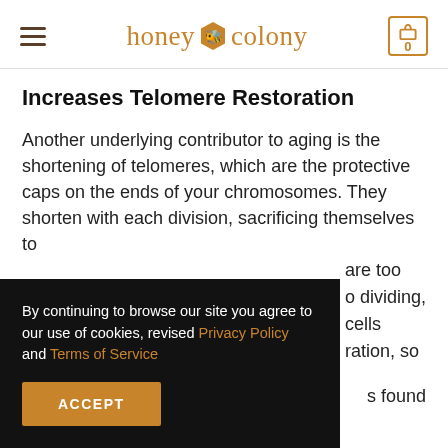honey colony
Increases Telomere Restoration
Another underlying contributor to aging is the shortening of telomeres, which are the protective caps on the ends of your chromosomes. They shorten with each division, sacrificing themselves to protect your DNA. When telomeres are too short, cells stop dividing, causing deterioration, so [partial text] ...s found
By continuing to browse our site you agree to our use of cookies, revised Privacy Policy and Terms of Service
ACCEPT